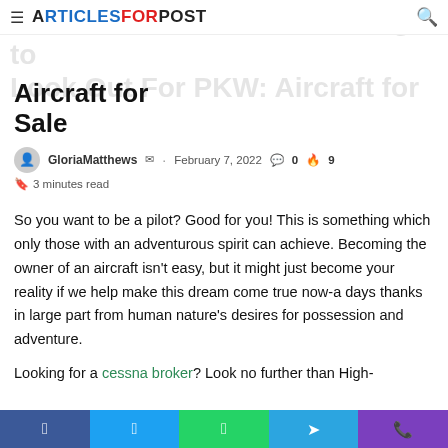ArticlesForPost
Aircraft for Sale – Basic Things to Look Out For PKW: Aircraft for Sale
GloriaMatthews · February 7, 2022 · 0 comments · 9 · 3 minutes read
So you want to be a pilot? Good for you! This is something which only those with an adventurous spirit can achieve. Becoming the owner of an aircraft isn't easy, but it might just become your reality if we help make this dream come true now-a days thanks in large part from human nature's desires for possession and adventure.
Looking for a cessna broker? Look no further than High-